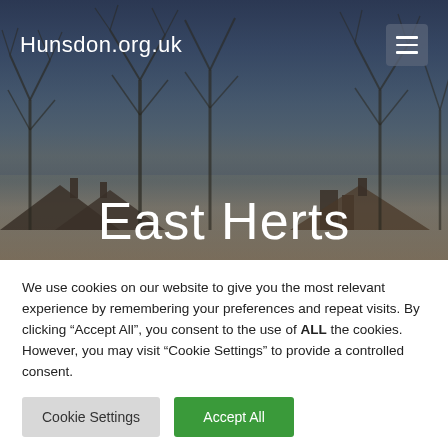Hunsdon.org.uk
[Figure (photo): Background photo of bare winter trees against a dusk sky, with rooftops and chimneys visible in the lower portion. The image forms the hero banner of the Hunsdon.org.uk website.]
East Herts
We use cookies on our website to give you the most relevant experience by remembering your preferences and repeat visits. By clicking “Accept All”, you consent to the use of ALL the cookies. However, you may visit “Cookie Settings” to provide a controlled consent.
Cookie Settings | Accept All